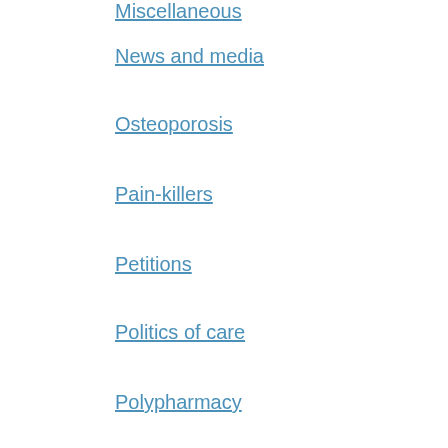Miscellaneous
News and media
Osteoporosis
Pain-killers
Petitions
Politics of care
Polypharmacy
PPIs
Pregnancy
Prize
Research
Samizdat
Sanctuary Trauma
Sex
Sleep
Statins